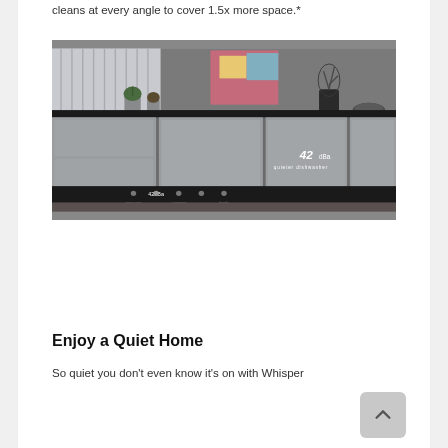cleans at every angle to cover 1.5x more space.*
[Figure (photo): A kitchen scene with modern gray cabinet fronts and a dishwasher. The dishwasher door panel shows '42dBA' text overlay. Small plants and decorative items are visible on the counter above, with a colorful abstract painting on the wall in the background. A bottom bar shows spray arm diagram with '42dBa' label and coverage indicators.]
Enjoy a Quiet Home
So quiet you don't even know it's on with Whisper